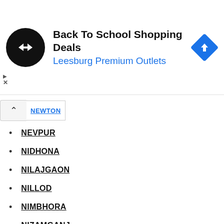[Figure (screenshot): Advertisement banner for 'Back To School Shopping Deals' at Leesburg Premium Outlets, with a black circular logo with white arrows icon and a blue diamond direction arrow icon on the right.]
NEWTON (partially visible, cut off)
NEVPUR
NIDHONA
NILAJGAON
NILLOD
NIMBHORA
NIZAMGANJ
OSMANPURA
PACHOD
PADALI
PADEGAON
PAITHAN